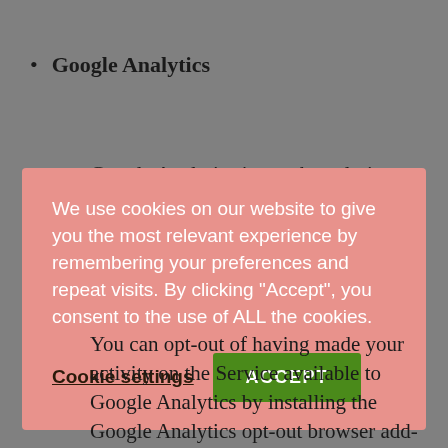Google Analytics
Google Analytics is a web analytics service offered by Google that tracks and reports website
[Figure (screenshot): Cookie consent modal overlay with pink/salmon background. Text reads: 'We use cookies on our website to give you the most relevant experience by remembering your preferences and repeat visits. By clicking "Accept", you consent to the use of ALL the cookies.' Two buttons below: 'Cookie settings' (underlined text) and 'ACCEPT' (green button).]
You can opt-out of having made your activity on the Service available to Google Analytics by installing the Google Analytics opt-out browser add-on. The add-on prevents the Google Analytics JavaScript (ga.js, analytics.js and dc.js)